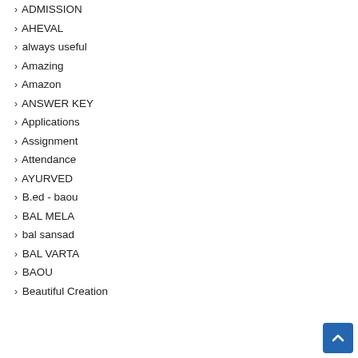› ADMISSION
› AHEVAL
› always useful
› Amazing
› Amazon
› ANSWER KEY
› Applications
› Assignment
› Attendance
› AYURVED
› B.ed - baou
› BAL MELA
› bal sansad
› BAL VARTA
› BAOU
› Beautiful Creation